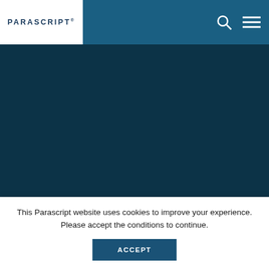PARASCRIPT®
Partner Portal Login
Solutions that do t…
This Parascript website uses cookies to improve your experience. Please accept the conditions to continue.
ACCEPT